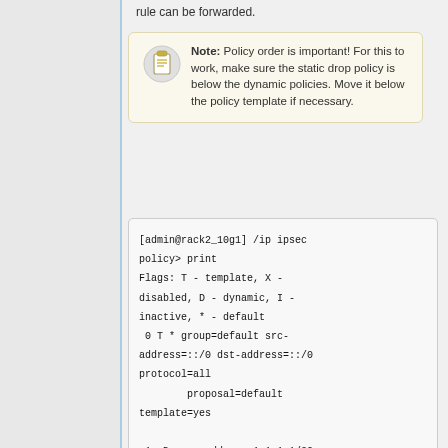rule can be forwarded.
Note: Policy order is important! For this to work, make sure the static drop policy is below the dynamic policies. Move it below the policy template if necessary.
[admin@rack2_10g1] /ip ipsec policy> print
Flags: T - template, X - disabled, D - dynamic, I - inactive, * - default
 0 T * group=default src-address=::/0 dst-address=::/0 protocol=all
        proposal=default template=yes

 1  D  src-address=1.1.1.1/32 src-port=1701 dst-address=10.5.130.71/32
        dst-port=any
 protocol=udp action=encrypt
 level=...